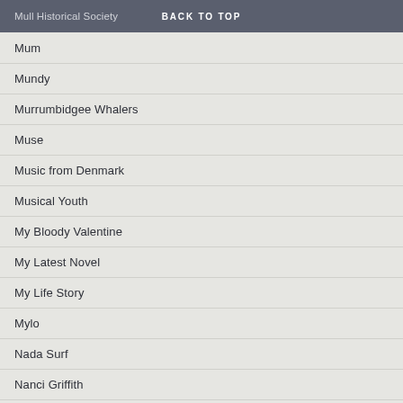Mull Historical Society   BACK TO TOP
Mum
Mundy
Murrumbidgee Whalers
Muse
Music from Denmark
Musical Youth
My Bloody Valentine
My Latest Novel
My Life Story
Mylo
Nada Surf
Nanci Griffith